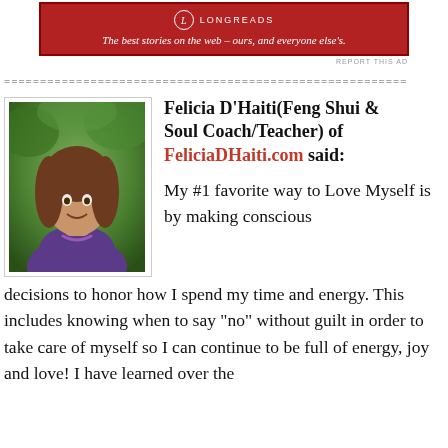[Figure (other): Longreads advertisement banner with red background, logo, and tagline: The best stories on the web — ours, and everyone else's.]
REPORT THIS AD
===========================================
[Figure (photo): Portrait photo of Felicia D'Haiti, a woman with long brown hair, smiling, wearing a purple shirt and necklace, with green trees in background.]
Felicia D'Haiti(Feng Shui & Soul Coach/Teacher) of FeliciaDHaiti.com said:
My #1 favorite way to Love Myself is by making conscious decisions to honor how I spend my time and energy. This includes knowing when to say “no” without guilt in order to take care of myself so I can continue to be full of energy, joy and love! I have learned over the